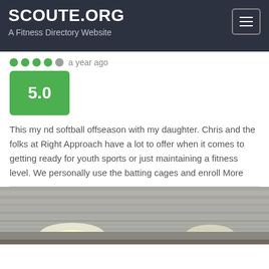SCOUTE.ORG — A Fitness Directory Website
a year ago
5.0
This my nd softball offseason with my daughter. Chris and the folks at Right Approach have a lot to offer when it comes to getting ready for youth sports or just maintaining a fitness level. We personally use the batting cages and enroll More
[Figure (photo): Indoor gym or sports facility ceiling with overhead lighting]